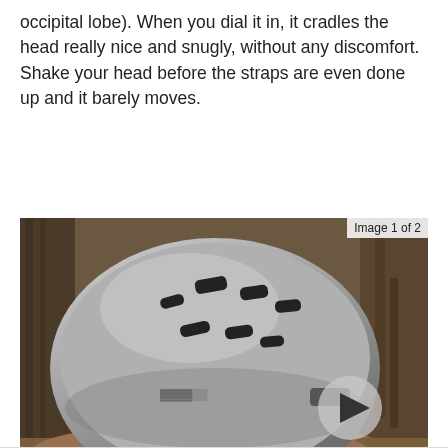occipital lobe). When you dial it in, it cradles the head really nice and snugly, without any discomfort. Shake your head before the straps are even done up and it barely moves.
[Figure (photo): A matte grey mountain bike helmet with multiple ventilation slots, resting on a rock with trees in the background. A BikePerfect logo watermark is visible in the lower left. A circular play button is overlaid in the lower right area of the image. Badge reads 'Image 1 of 2'.]
The rear of the helmet provides excellant level of coverage (Image credit: Sean Fishpool)